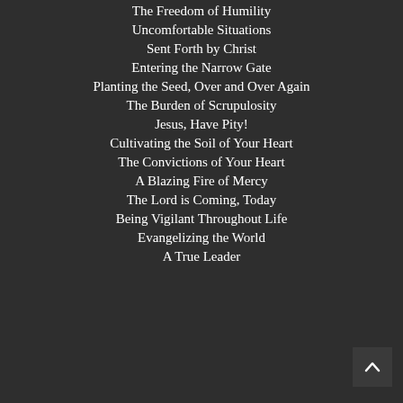The Freedom of Humility
Uncomfortable Situations
Sent Forth by Christ
Entering the Narrow Gate
Planting the Seed, Over and Over Again
The Burden of Scrupulosity
Jesus, Have Pity!
Cultivating the Soil of Your Heart
The Convictions of Your Heart
A Blazing Fire of Mercy
The Lord is Coming, Today
Being Vigilant Throughout Life
Evangelizing the World
A True Leader